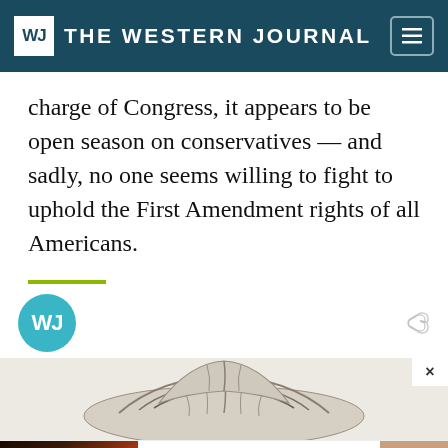THE WESTERN JOURNAL
charge of Congress, it appears to be open season on conservatives — and sadly, no one seems willing to fight to uphold the First Amendment rights of all Americans.
[Figure (logo): The Western Journal WJ circular logo in teal]
[Figure (illustration): Pencil sketch illustration of an oyster or clam shell]
[Figure (photo): Advertisement: Stop Eating Red Meat (Before It's Too Late) - Herbeauty, showing a steak image on left and woman's photo on right]